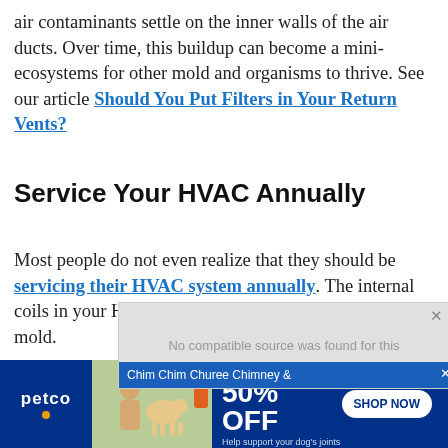air contaminants settle on the inner walls of the air ducts. Over time, this buildup can become a mini-ecosystems for other mold and organisms to thrive. See our article Should You Put Filters in Your Return Vents?
Service Your HVAC Annually
Most people do not even realize that they should be servicing their HVAC system annually. The internal coils in your HVAC system can be breeding grounds for mold.
[Figure (screenshot): Video player overlay showing 'No compatible source was found for this' error message, with a Chim Chim Churee Chimney & bar below in blue]
[Figure (infographic): Petco advertisement: BUY ONE, GET ONE 50% OFF - Help support your dog's joints with a premium supplement. SHOP NOW button. Shows person with golden retriever dog and supplement product.]